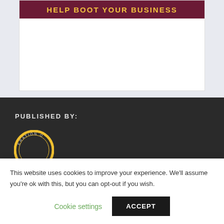[Figure (illustration): Banner image with dark maroon background showing text 'HELP BOOT YOUR BUSINESS' in gold/yellow uppercase letters]
PUBLISHED BY:
[Figure (logo): Circular badge/seal with yellow border, partially visible, showing text 'ERATION O' around the edge]
This website uses cookies to improve your experience. We'll assume you're ok with this, but you can opt-out if you wish.
Cookie settings   ACCEPT